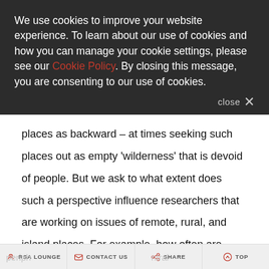We use cookies to improve your website experience. To learn about our use of cookies and how you can manage your cookie settings, please see our Cookie Policy. By closing this message, you are consenting to our use of cookies.
places as backward – at times seeking such places out as empty 'wilderness' that is devoid of people. But we ask to what extent does such a perspective influence researchers that are working on issues of remote, rural, and island places. For example, how often are peripheral regions defined primarily by their vulnerability and disadvantage? Or how much is regional policy (like European Cohesion policy) rooted in an assumption that
periph... RSA LOUNGE   CONTACT US   SHARE   TOP   ntral